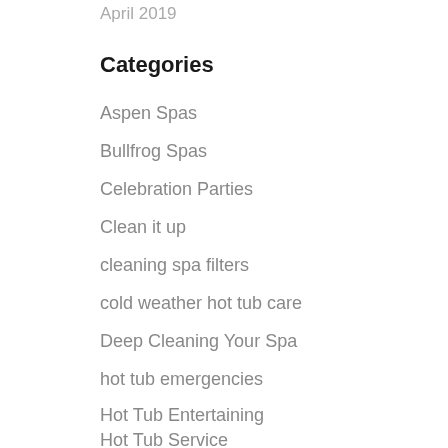April 2019
Categories
Aspen Spas
Bullfrog Spas
Celebration Parties
Clean it up
cleaning spa filters
cold weather hot tub care
Deep Cleaning Your Spa
hot tub emergencies
Hot Tub Entertaining
Hot Tub Service
hot tub service contracts